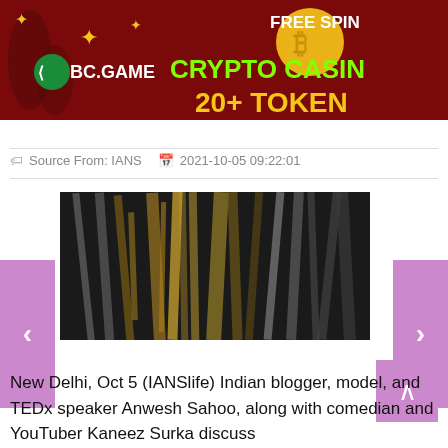[Figure (other): BC.GAME crypto casino advertisement banner with dark red background, Bitcoin coin, 'FREE SPIN', 'BC.GAME', 'CRYPTO CASINO', '20+ TOKEN' text in green and yellow]
Source From: IANS   2021-10-05 09:22:01
[Figure (photo): Close-up photo of an animal with fur/hair, appears to be a dog with mixed brown, grey and golden fur in motion]
New Delhi, Oct 5 (IANSlife) Indian blogger, model, and TEDx speaker Anwesh Sahoo, along with comedian and YouTuber Kaneez Surka discuss